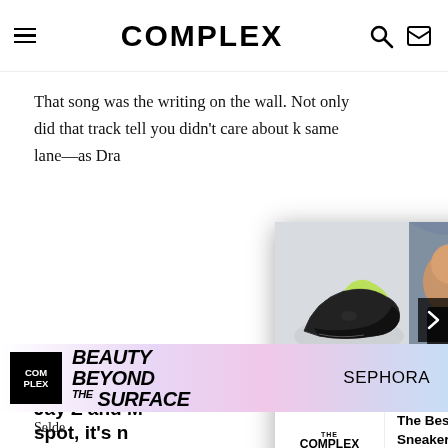COMPLEX
That song was the writing on the wall. Not only did that track tell you didn't care about k same lane—as Dra
[Figure (screenshot): Complex Sneakers Podcast popup with Nike Air Max 95 sneaker image and three hosts, showing 'The Best Back to School Sneakers, Then and Now | The Complex Sneakers Podcast']
As much a Jay Z and M spot, it's n in the prim
[Figure (advertisement): Complex ad banner for Sephora 'Beauty Beyond the Surface' with Complex logo on black background, italic stylized text, and Sephora brand name]
Selde